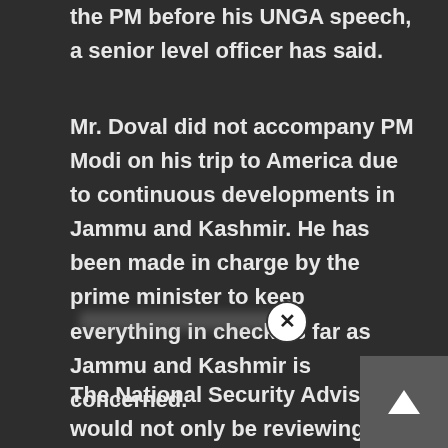the PM before his UNGA speech, a senior level officer has said.
Mr. Doval did not accompany PM Modi on his trip to America due to continuous developments in Jammu and Kashmir. He has been made in charge by the prime minister to keep everything in check as far as Jammu and Kashmir is concerned.
[Figure (other): A close/dismiss button (X in a circle) overlaid on a blurred content bar]
The National Security Advisor would not only be reviewing the security situation with all security agencies but will also review political detentions with the state administration.
Officers in the Home Ministry indicate that the government is no hurry to take any step as far